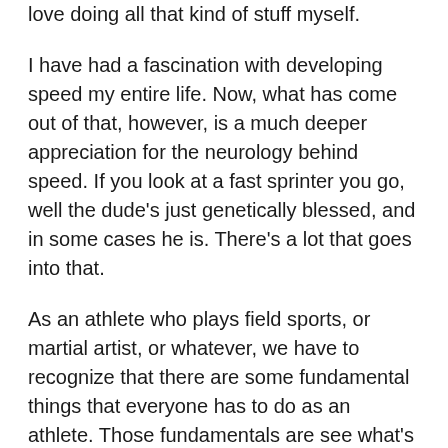love doing all that kind of stuff myself.
I have had a fascination with developing speed my entire life. Now, what has come out of that, however, is a much deeper appreciation for the neurology behind speed. If you look at a fast sprinter you go, well the dude's just genetically blessed, and in some cases he is. There's a lot that goes into that.
As an athlete who plays field sports, or martial artist, or whatever, we have to recognize that there are some fundamental things that everyone has to do as an athlete. Those fundamentals are see what's happening, decide what it means, and then act on it. See, decide, and act. In our speed training course, yes we work on the fundamentals of sprinting, we look at a lot of revolutionary ways, if you want to call it that, to develop power.